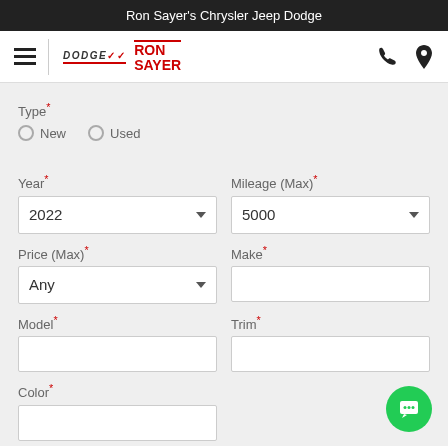Ron Sayer's Chrysler Jeep Dodge
[Figure (logo): Navigation bar with hamburger menu, Dodge and Ron Sayer logos, phone and location icons]
Type* New Used
Year* 2022
Mileage (Max)* 5000
Price (Max)* Any
Make*
Model*
Trim*
Color*